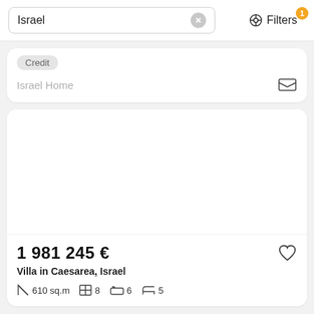Israel
Filters 1
Credit
Israel Home
1 981 245 €
Villa in Caesarea, Israel
610 sq.m  8  6  5